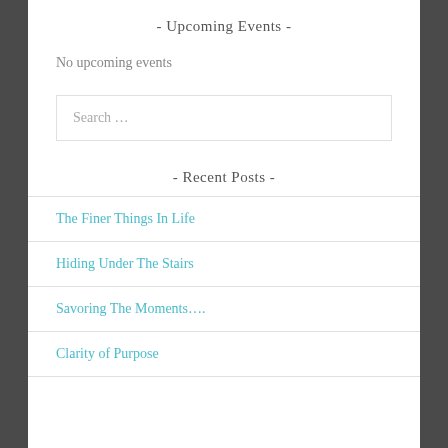- Upcoming Events -
No upcoming events
[Figure (screenshot): Search input box with placeholder text 'Search …']
- Recent Posts -
The Finer Things In Life
Hiding Under The Stairs
Savoring The Moments….
Clarity of Purpose